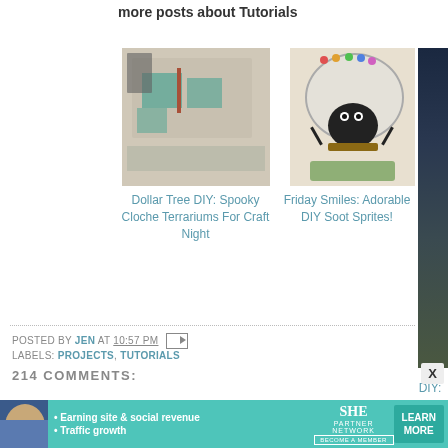more posts about Tutorials
[Figure (photo): Photo of a craft table with teal/green paper and supplies]
Dollar Tree DIY: Spooky Cloche Terrariums For Craft Night
[Figure (photo): Photo of a DIY soot sprite craft under a glass dome]
Friday Smiles: Adorable DIY Soot Sprites!
[Figure (photo): Dark blue/brown background painting with a figure]
DIY: "Be... Beast" St... R...
POSTED BY JEN AT 10:57 PM
LABELS: PROJECTS, TUTORIALS
214 COMMENTS:
[Figure (screenshot): SHE Partner Network advertisement banner: Earning site & social revenue, Traffic growth, LEARN MORE button]